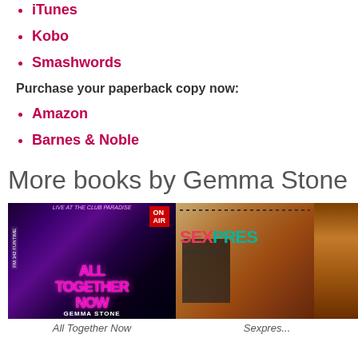iTunes
Kobo
Smashwords
Purchase your paperback copy now:
Amazon
Barnes & Noble
More books by Gemma Stone
[Figure (photo): Book cover of 'All Together Now' by Gemma Stone — dark purple/black background with performer on stage, neon pink text 'ALL TOGETHER NOW', ON AIR badge top right]
All Together Now
[Figure (photo): Book cover of 'Sexpresso' by Gemma Stone — collage with coffee beans, people, teal and red 'SEXPRES' text visible (partially cropped)]
Sexpres...